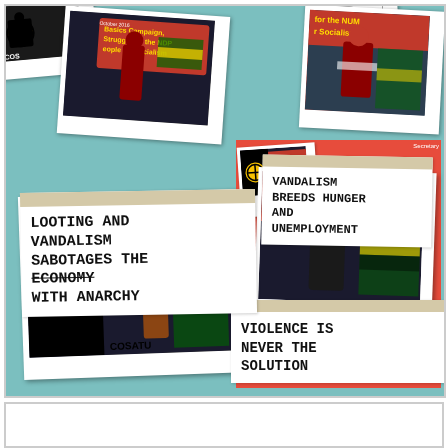[Figure (photo): Collage of COSATU polaroid-style photos and torn paper slips with protest messages on teal background. Messages: LOOTING AND VANDALISM SABOTAGES THE ECONOMY WITH ANARCHY; VANDALISM BREEDS HUNGER AND UNEMPLOYMENT; VIOLENCE IS NEVER THE SOLUTION. Photos show COSATU branded event images with speakers at podiums with South African flags.]
LOOTING AND VANDALISM SABOTAGES THE ECONOMY WITH ANARCHY
VANDALISM BREEDS HUNGER AND UNEMPLOYMENT
VIOLENCE IS NEVER THE SOLUTION